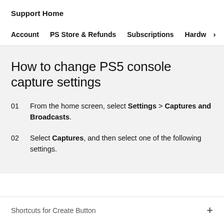Support Home
Account   PS Store & Refunds   Subscriptions   Hardw>
How to change PS5 console capture settings
01  From the home screen, select Settings > Captures and Broadcasts.
02  Select Captures, and then select one of the following settings.
Shortcuts for Create Button